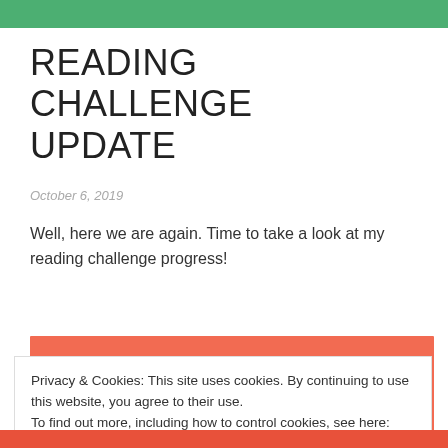READING CHALLENGE UPDATE
October 6, 2019
Well, here we are again. Time to take a look at my reading challenge progress!
[Figure (photo): Salmon/coral colored image block (partially visible)]
Privacy & Cookies: This site uses cookies. By continuing to use this website, you agree to their use.
To find out more, including how to control cookies, see here: Cookie Policy